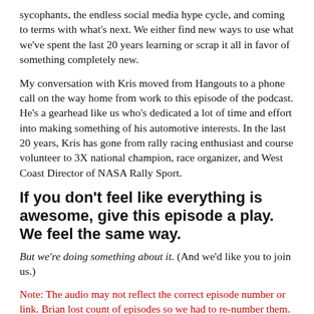sycophants, the endless social media hype cycle, and coming to terms with what’s next. We either find new ways to use what we’ve spent the last 20 years learning or scrap it all in favor of something completely new.
My conversation with Kris moved from Hangouts to a phone call on the way home from work to this episode of the podcast. He’s a gearhead like us who’s dedicated a lot of time and effort into making something of his automotive interests. In the last 20 years, Kris has gone from rally racing enthusiast and course volunteer to 3X national champion, race organizer, and West Coast Director of NASA Rally Sport.
If you don’t feel like everything is awesome, give this episode a play. We feel the same way.
But we’re doing something about it. (And we’d like you to join us.)
Note: The audio may not reflect the correct episode number or link. Brian lost count of episodes so we had to re-number them.